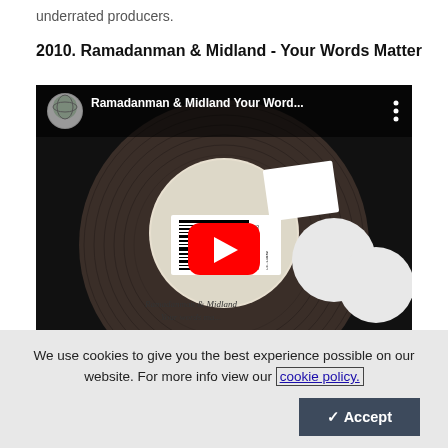underrated producers.
2010. Ramadanman & Midland - Your Words Matter
[Figure (screenshot): YouTube video thumbnail showing a vinyl record with barcode sticker and 'Ramadanman & Midland Your Word...' title in the top bar, with a red YouTube play button in the center. Text on record reads 'Ramadanman & Midland Your words ma...']
We use cookies to give you the best experience possible on our website. For more info view our cookie policy.
✓ Accept